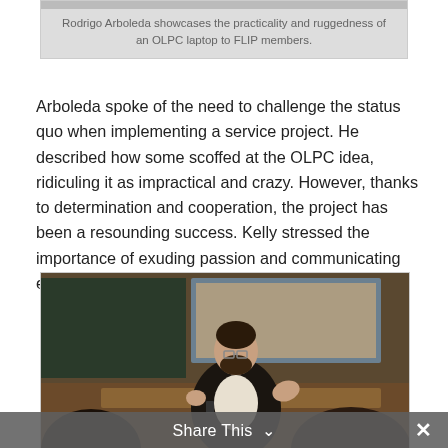[Figure (photo): Top portion of a photo showing Rodrigo Arboleda demonstrating an OLPC laptop to FLIP members (only the bottom edge of photo visible at top of page)]
Rodrigo Arboleda showcases the practicality and ruggedness of an OLPC laptop to FLIP members.
Arboleda spoke of the need to challenge the status quo when implementing a service project. He described how some scoffed at the OLPC idea, ridiculing it as impractical and crazy. However, thanks to determination and cooperation, the project has been a resounding success. Kelly stressed the importance of exuding passion and communicating effectively to effect change.
[Figure (photo): A bearded man with glasses wearing a dark blazer and white shirt sits and gestures with his hands while speaking to an audience in a classroom/lecture setting. A projection screen is visible in the background. Audience members' heads are visible in the foreground.]